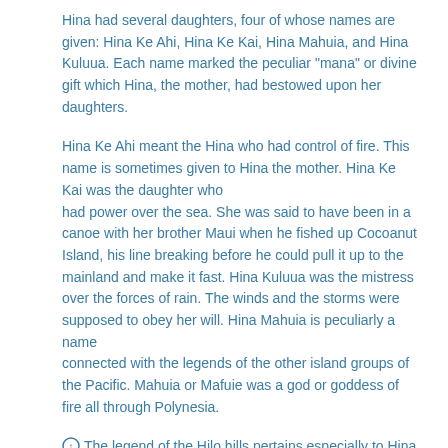Hina had several daughters, four of whose names are given: Hina Ke Ahi, Hina Ke Kai, Hina Mahuia, and Hina Kuluua. Each name marked the peculiar "mana" or divine gift which Hina, the mother, had bestowed upon her daughters.
Hina Ke Ahi meant the Hina who had control of fire. This name is sometimes given to Hina the mother. Hina Ke Kai was the daughter who had power over the sea. She was said to have been in a canoe with her brother Maui when he fished up Cocoanut Island, his line breaking before he could pull it up to the mainland and make it fast. Hina Kuluua was the mistress over the forces of rain. The winds and the storms were supposed to obey her will. Hina Mahuia is peculiarly a name connected with the legends of the other island groups of the Pacific. Mahuia or Mafuie was a god or goddess of fire all through Polynesia.
The legend of the Hilo hills pertains especially to Hina Ke Ahi and Hina Kuluua. Hina the mother gave the hill Halai to Hina Ke Ahi and the hill Puu Honu to Hina Kuluua for their families and dependents.